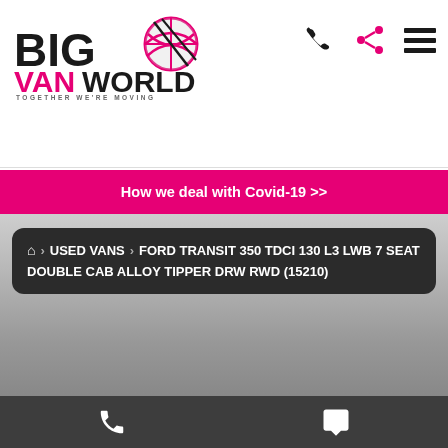[Figure (logo): Big Van World logo with globe graphic and tagline TOGETHER WE'RE MOVING]
[Figure (infographic): Navigation icons: phone, share, hamburger menu]
How we deal with Covid-19 >>
🏠 > USED VANS > FORD TRANSIT 350 TDCI 130 L3 LWB 7 SEAT DOUBLE CAB ALLOY TIPPER DRW RWD (15210)
[Figure (infographic): Bottom bar with phone and chat icons]
Phone and chat icons in dark footer bar